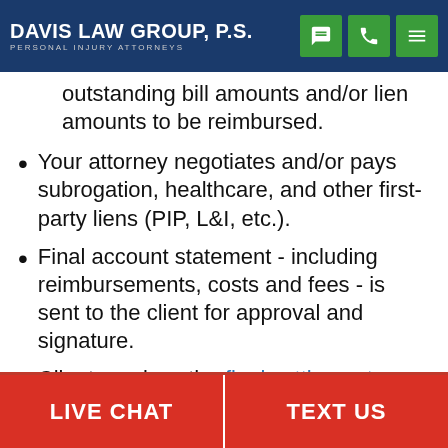Davis Law Group, P.S. — Personal Injury Attorneys
outstanding bill amounts and/or lien amounts to be reimbursed.
Your attorney negotiates and/or pays subrogation, healthcare, and other first-party liens (PIP, L&I, etc.).
Final account statement - including reimbursements, costs and fees - is sent to the client for approval and signature.
Client receives the final settlement check.
LIVE CHAT | TEXT US